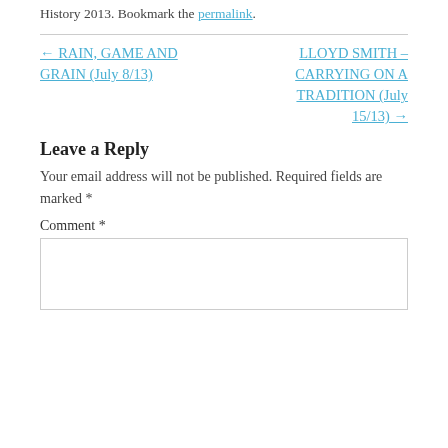History 2013. Bookmark the permalink.
← RAIN, GAME AND GRAIN (July 8/13)
LLOYD SMITH – CARRYING ON A TRADITION (July 15/13) →
Leave a Reply
Your email address will not be published. Required fields are marked *
Comment *